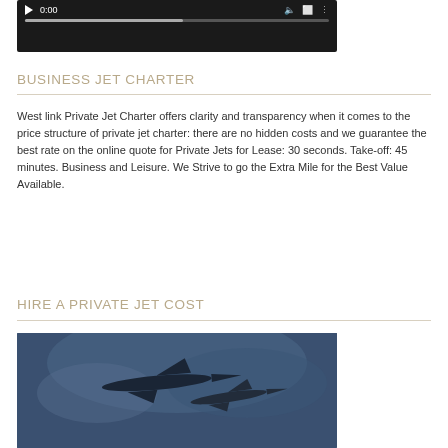[Figure (screenshot): Video player control bar showing play button, 0:00 timestamp, speaker icon, and a progress bar, on a black background]
BUSINESS JET CHARTER
West link Private Jet Charter offers clarity and transparency when it comes to the price structure of private jet charter: there are no hidden costs and we guarantee the best rate on the online quote for Private Jets for Lease: 30 seconds. Take-off: 45 minutes. Business and Leisure. We Strive to go the Extra Mile for the Best Value Available.
HIRE A PRIVATE JET COST
[Figure (photo): Photo of a private jet aircraft in flight against a cloudy blue sky]